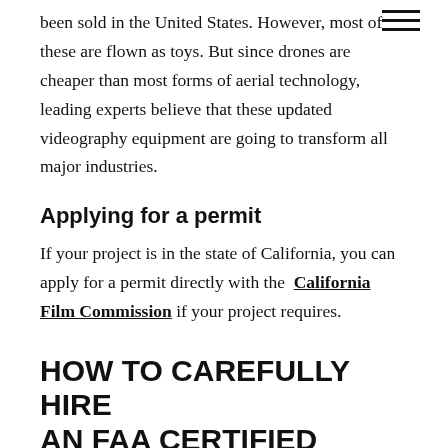been sold in the United States. However, most of these are flown as toys. But since drones are cheaper than most forms of aerial technology, leading experts believe that these updated videography equipment are going to transform all major industries.
Applying for a permit
If your project is in the state of California, you can apply for a permit directly with the California Film Commission if your project requires.
HOW TO CAREFULLY HIRE AN FAA CERTIFIED DRONE